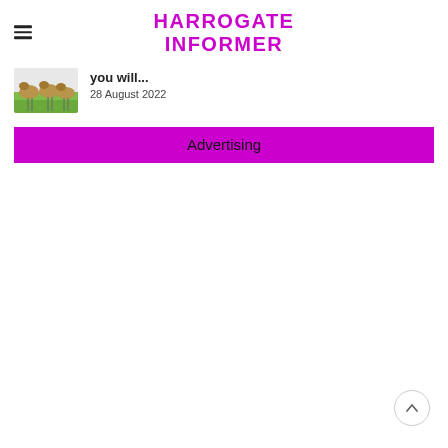HARROGATE INFORMER
[Figure (photo): Thumbnail photo of animals (possibly deer or similar) on green grass with thin vertical stakes or poles]
you will...
28 August 2022
Advertising